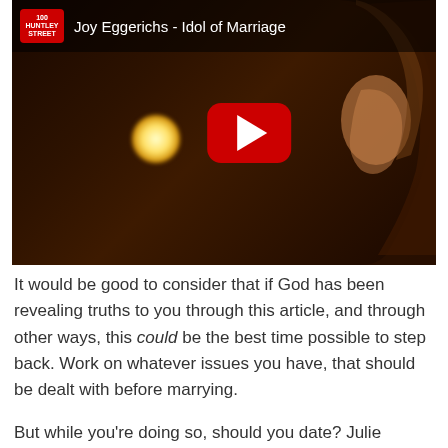[Figure (screenshot): YouTube video thumbnail showing 'Joy Eggerichs - Idol of Marriage' on the 100 Huntley Street channel. Dark background with a warm light orb and a woman's profile silhouette on the right, with a red YouTube play button in the center.]
It would be good to consider that if God has been revealing truths to you through this article, and through other ways, this could be the best time possible to step back. Work on whatever issues you have, that should be dealt with before marrying.
But while you're doing so, should you date? Julie